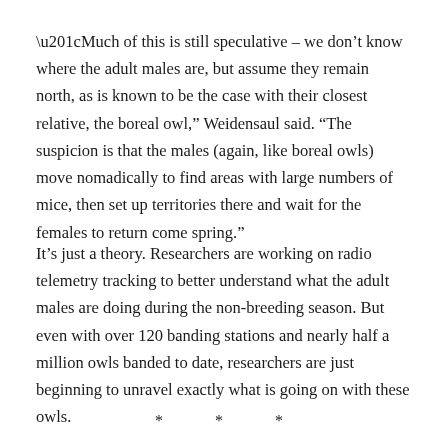“Much of this is still speculative – we don’t know where the adult males are, but assume they remain north, as is known to be the case with their closest relative, the boreal owl,” Weidensaul said. “The suspicion is that the males (again, like boreal owls) move nomadically to find areas with large numbers of mice, then set up territories there and wait for the females to return come spring.”
It’s just a theory. Researchers are working on radio telemetry tracking to better understand what the adult males are doing during the non-breeding season. But even with over 120 banding stations and nearly half a million owls banded to date, researchers are just beginning to unravel exactly what is going on with these owls.
* * *